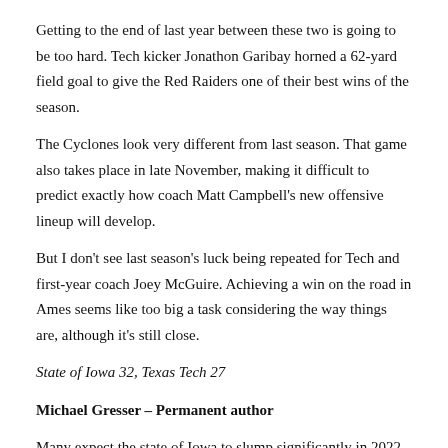Getting to the end of last year between these two is going to be too hard. Tech kicker Jonathon Garibay horned a 62-yard field goal to give the Red Raiders one of their best wins of the season.
The Cyclones look very different from last season. That game also takes place in late November, making it difficult to predict exactly how coach Matt Campbell's new offensive lineup will develop.
But I don't see last season's luck being repeated for Tech and first-year coach Joey McGuire. Achieving a win on the road in Ames seems like too big a task considering the way things are, although it's still close.
State of Iowa 32, Texas Tech 27
Michael Gresser – Permanent author
Many expect the state of Iowa to slump significantly in 2022 due to the losses of quarterback Brock Purdy and running back Breece Hall. While those losses are impressive, the Cyclones finished a disappointing 7-6 with